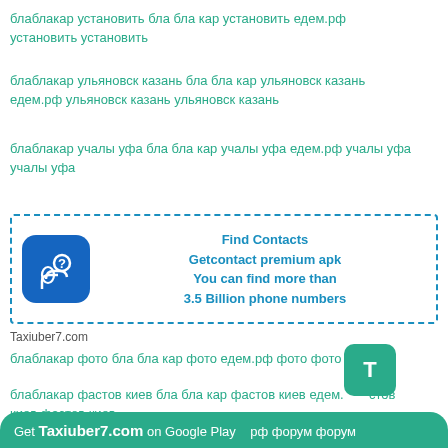блаблакар установить бла бла кар установить едем.рф установить установить
блаблакар ульяновск казань бла бла кар ульяновск казань едем.рф ульяновск казань ульяновск казань
блаблакар учалы уфа бла бла кар учалы уфа едем.рф учалы уфа учалы уфа
[Figure (infographic): Ad banner with dashed border showing a phone contacts app icon and text: Find Contacts, Getcontact premium apk, You can find more than 3.5 Billion phone numbers]
Taxiuber7.com
блаблакар фото бла бла кар фото едем.рф фото фото
блаблакар фастов киев бла бла кар фастов киев едем.рф фастов киев фастов киев
Get Taxiuber7.com on Google Play рф форум форум